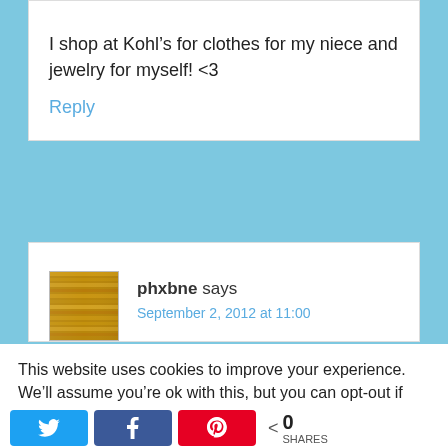I shop at Kohl’s for clothes for my niece and jewelry for myself! <3
Reply
phxbne says
September 2, 2012 at 11:00
This website uses cookies to improve your experience. We’ll assume you’re ok with this, but you can opt-out if you wish.
0 SHARES